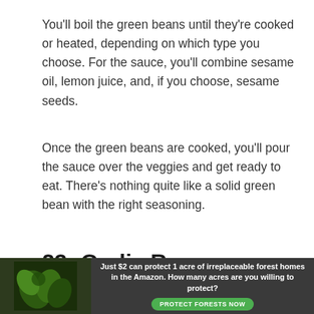You'll boil the green beans until they're cooked or heated, depending on which type you choose. For the sauce, you'll combine sesame oil, lemon juice, and, if you choose, sesame seeds.
Once the green beans are cooked, you'll pour the sauce over the veggies and get ready to eat. There's nothing quite like a solid green bean with the right seasoning.
23: Garlic Rosemary Mashed Cauliflower
[Figure (other): Advertisement banner: dark background with forest/leaf imagery on the left, text reading 'Just $2 can protect 1 acre of irreplaceable forest homes in the Amazon. How many acres are you willing to protect?' with a green 'PROTECT FORESTS NOW' button.]